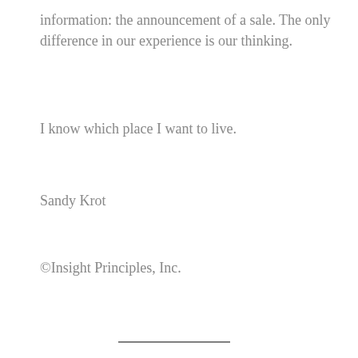information: the announcement of a sale. The only difference in our experience is our thinking.
I know which place I want to live.
Sandy Krot
©Insight Principles, Inc.
[Figure (other): A short horizontal decorative divider line centered on the page]